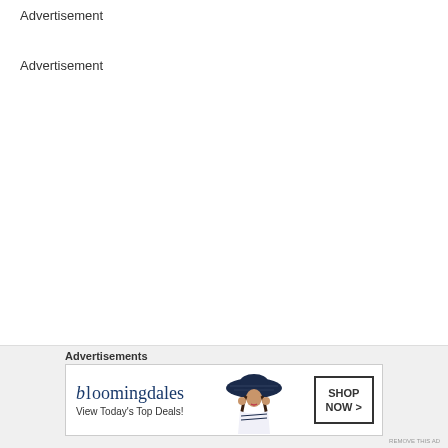Advertisement
Advertisement
Advertisements
[Figure (illustration): Bloomingdales advertisement banner with logo, model wearing a wide-brim hat, tagline 'View Today's Top Deals!' and 'SHOP NOW >' button]